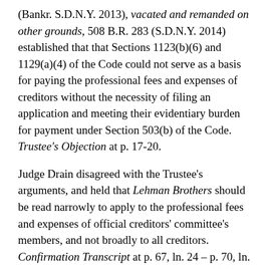(Bankr. S.D.N.Y. 2013), vacated and remanded on other grounds, 508 B.R. 283 (S.D.N.Y. 2014) established that that Sections 1123(b)(6) and 1129(a)(4) of the Code could not serve as a basis for paying the professional fees and expenses of creditors without the necessity of filing an application and meeting their evidentiary burden for payment under Section 503(b) of the Code. Trustee's Objection at p. 17-20.
Judge Drain disagreed with the Trustee's arguments, and held that Lehman Brothers should be read narrowly to apply to the professional fees and expenses of official creditors' committee's members, and not broadly to all creditors. Confirmation Transcript at p. 67, ln. 24 – p. 70, ln. 4. Nonetheless, the Court held that § 1129(a)(4)